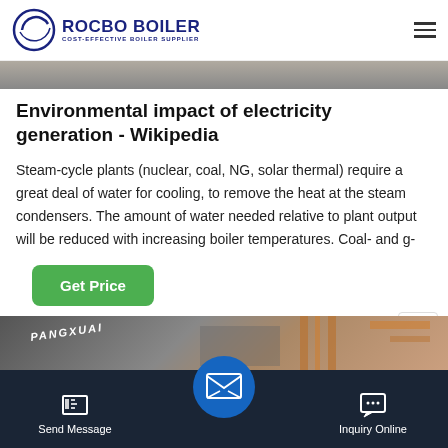[Figure (logo): Rocbo Boiler logo with circular arc icon and text 'ROCBO BOILER - COST-EFFECTIVE BOILER SUPPLIER']
[Figure (photo): Partial photo strip at top of page, showing industrial or boiler-related imagery in grayscale]
Environmental impact of electricity generation - Wikipedia
Steam-cycle plants (nuclear, coal, NG, solar thermal) require a great deal of water for cooling, to remove the heat at the steam condensers. The amount of water needed relative to plant output will be reduced with increasing boiler temperatures. Coal- and g-
[Figure (screenshot): Green 'Get Price' button]
[Figure (photo): Bottom image strip showing industrial boiler equipment with text 'PANGXUAI' and copper pipes]
[Figure (infographic): Bottom navigation bar with 'Send Message' icon on left, blue circular email icon in center, and 'Inquiry Online' chat icon on right, on dark navy background]